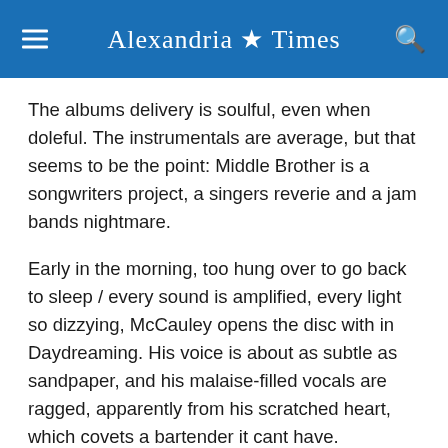Alexandria Times
The albums delivery is soulful, even when doleful. The instrumentals are average, but that seems to be the point: Middle Brother is a songwriters project, a singers reverie and a jam bands nightmare.
Early in the morning, too hung over to go back to sleep / every sound is amplified, every light so dizzying, McCauley opens the disc with in Daydreaming. His voice is about as subtle as sandpaper, and his malaise-filled vocals are ragged, apparently from his scratched heart, which covets a bartender it cant have.
McCauley sets up the next track nicely Blue Eyes. It's the albums catchiest tune, written and led by Vasquez, perhaps